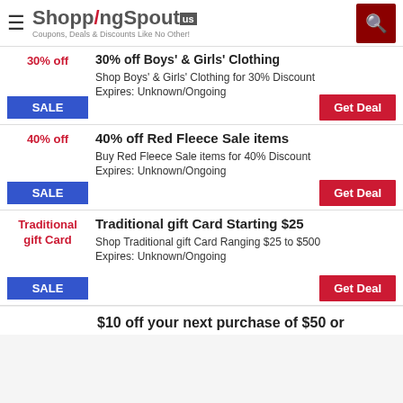ShoppingSpout US — Coupons, Deals & Discounts Like No Other!
30% off Boys' & Girls' Clothing
Shop Boys' & Girls' Clothing for 30% Discount
Expires: Unknown/Ongoing
SALE
Get Deal
40% off Red Fleece Sale items
Buy Red Fleece Sale items for 40% Discount
Expires: Unknown/Ongoing
SALE
Get Deal
Traditional gift Card Starting $25
Shop Traditional gift Card Ranging $25 to $500
Expires: Unknown/Ongoing
SALE
Get Deal
$10 off your next purchase of $50 or